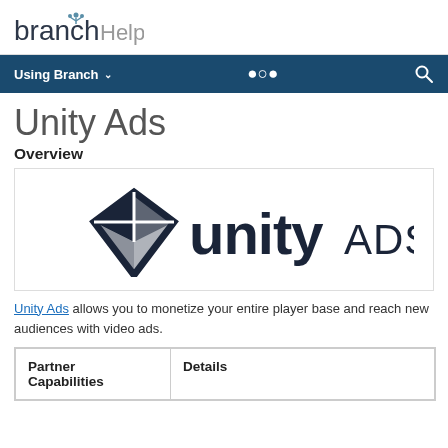branch Help
Using Branch
Unity Ads
Overview
[Figure (logo): Unity Ads logo — a dark navy geometric diamond/shield icon to the left, and the text 'unity ADS' in bold dark navy lettering to the right.]
Unity Ads allows you to monetize your entire player base and reach new audiences with video ads.
| Partner Capabilities | Details |
| --- | --- |